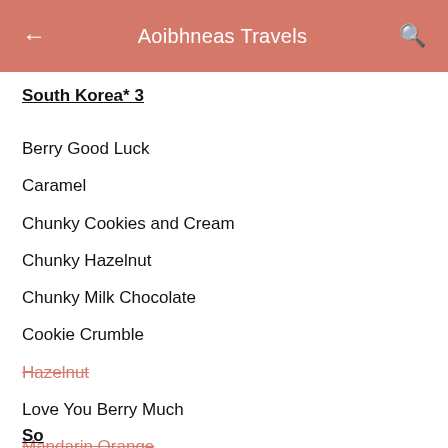← Aoibhneas Travels 🔍
South Korea* 3
Berry Good Luck
Caramel
Chunky Cookies and Cream
Chunky Hazelnut
Chunky Milk Chocolate
Cookie Crumble
Hazelnut (strikethrough, red)
Love You Berry Much
Mandarin Orange (strikethrough, red)
Milk Chocolate
Pop Chocs
Senses Hazelnut
Strawberry Mochi (strikethrough)